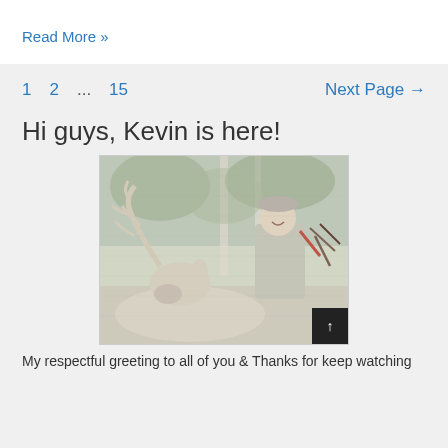Read More »
1  2  ...  15  Next Page →
Hi guys, Kevin is here!
[Figure (photo): A hunter in camouflage gear holding a bow, posing with a harvested elk with large antlers, in a forest setting. Image appears to have a sketch/pencil-drawing filter applied.]
My respectful greeting to all of you & Thanks for keep watching